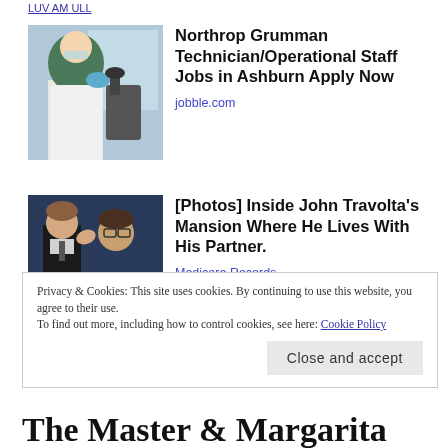LUV AM ULL
[Figure (photo): Woman in hijab and lab coat working with microscope in laboratory setting]
Northrop Grumman Technician/Operational Staff Jobs in Ashburn Apply Now
jobble.com
[Figure (photo): Two men in formal attire, one kissing the other on the cheek]
[Photos] Inside John Travolta's Mansion Where He Lives With His Partner.
Medicare Records
Privacy & Cookies: This site uses cookies. By continuing to use this website, you agree to their use.
To find out more, including how to control cookies, see here: Cookie Policy
The Master & Margarita